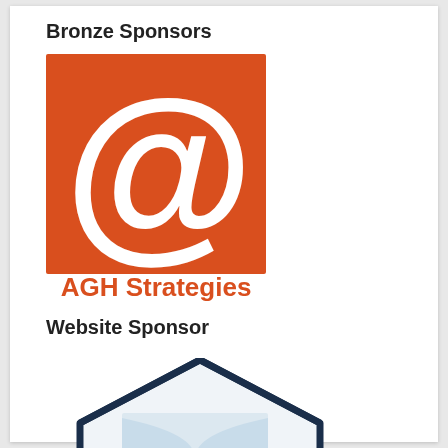Bronze Sponsors
[Figure (logo): AGH Strategies logo: orange square with a large white @ symbol, and the text 'AGH Strategies' in orange below]
Website Sponsor
[Figure (logo): Partial view of a dark navy blue house/book icon logo at the bottom of the page]